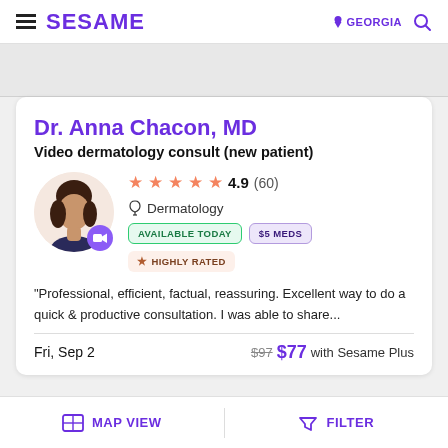SESAME | GEORGIA
Dr. Anna Chacon, MD
Video dermatology consult (new patient)
4.9 (60) | Dermatology | AVAILABLE TODAY | $5 MEDS | HIGHLY RATED
"Professional, efficient, factual, reassuring. Excellent way to do a quick & productive consultation. I was able to share...
Fri, Sep 2 | $97  $77 with Sesame Plus
MAP VIEW | FILTER